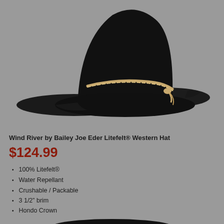[Figure (photo): Black western cowboy hat with tan/cream braided leather band, photographed against a gray background. Top portion of hat visible.]
Wind River by Bailey Joe Eder Litefelt® Western Hat
$124.99
100% Litefelt®
Water Repellant
Crushable / Packable
3 1/2" brim
Hondo Crown
Ear Flaps
Made in the USA
[Figure (photo): Partial view of another black western hat at the bottom of the page, cropped.]